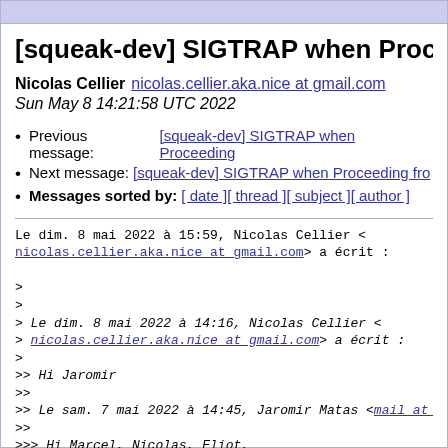[squeak-dev] SIGTRAP when Proceeding
Nicolas Cellier nicolas.cellier.aka.nice at gmail.com
Sun May 8 14:21:58 UTC 2022
Previous message: [squeak-dev] SIGTRAP when Proceeding
Next message: [squeak-dev] SIGTRAP when Proceeding fro
Messages sorted by: [ date ] [ thread ] [ subject ] [ author ]
Le dim. 8 mai 2022 à 15:59, Nicolas Cellier <
nicolas.cellier.aka.nice at gmail.com> a écrit :

>
>
> Le dim. 8 mai 2022 à 14:16, Nicolas Cellier <
> nicolas.cellier.aka.nice at gmail.com> a écrit :
>
>> Hi Jaromir
>>
>> Le sam. 7 mai 2022 à 14:45, Jaromir Matas <mail at j
>>
>>> Hi Marcel, Nicolas, Eliot,
>>>
>>>